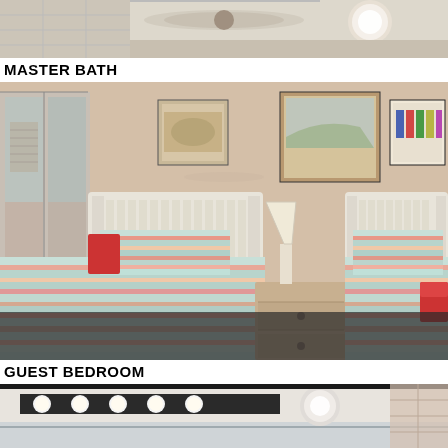[Figure (photo): Partial view of master bath ceiling with fan and white ceiling fixture]
MASTER BATH
[Figure (photo): Guest bedroom with two twin beds featuring colorful striped quilts, white wooden headboards, a nightstand with lamp between them, mirrored closet doors on the left, and three framed pictures on the wall above]
GUEST BEDROOM
[Figure (photo): Partial view of guest bath ceiling with Hollywood vanity lights and recessed lighting, mirror visible]